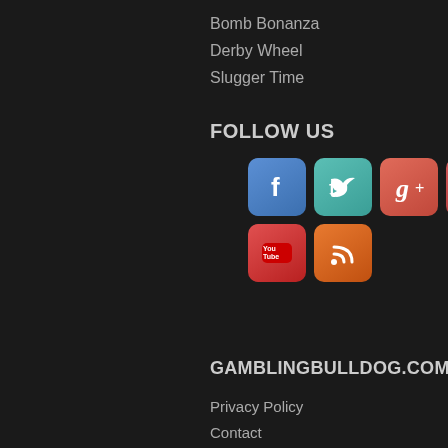Bomb Bonanza
Derby Wheel
Slugger Time
FOLLOW US
[Figure (illustration): Row of social media icons: Facebook, Twitter, Google+, Pinterest, Instagram in first row; YouTube, RSS in second row]
GAMBLINGBULLDOG.COM
Privacy Policy
Contact